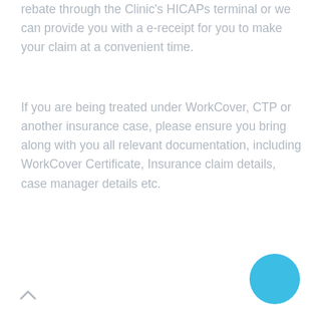rebate through the Clinic's HICAPs terminal or we can provide you with a e-receipt for you to make your claim at a convenient time.
If you are being treated under WorkCover, CTP or another insurance case, please ensure you bring along with you all relevant documentation, including WorkCover Certificate, Insurance claim details, case manager details etc.